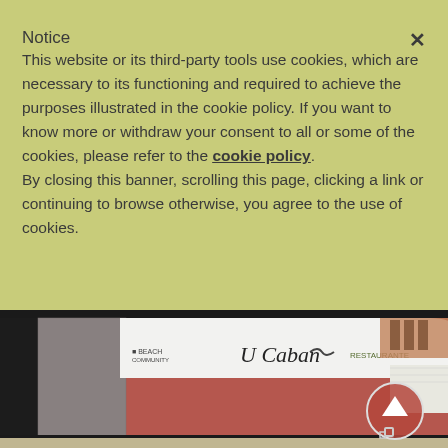Notice
This website or its third-party tools use cookies, which are necessary to its functioning and required to achieve the purposes illustrated in the cookie policy. If you want to know more or withdraw your consent to all or some of the cookies, please refer to the cookie policy.
By closing this banner, scrolling this page, clicking a link or continuing to browse otherwise, you agree to the use of cookies.
[Figure (photo): Exterior photo of a restaurant called U Caban with a curved white sign on a red/terracotta building facade, and a second photo below showing tropical leaves against a light wall. A circular scroll-up button is visible on the right side.]